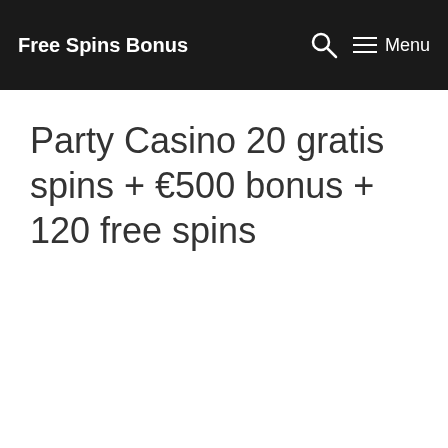Free Spins Bonus   Menu
Party Casino 20 gratis spins + €500 bonus + 120 free spins